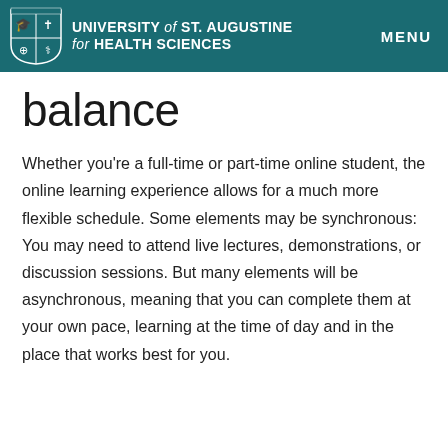UNIVERSITY of ST. AUGUSTINE for HEALTH SCIENCES  MENU
balance
Whether you're a full-time or part-time online student, the online learning experience allows for a much more flexible schedule. Some elements may be synchronous: You may need to attend live lectures, demonstrations, or discussion sessions. But many elements will be asynchronous, meaning that you can complete them at your own pace, learning at the time of day and in the place that works best for you.